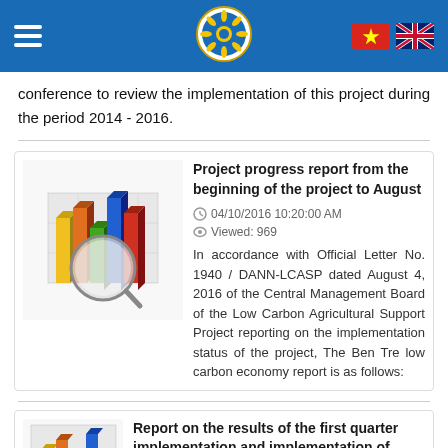Navigation header with logo and language flags (Vietnamese and UK)
conference to review the implementation of this project during the period 2014 - 2016.
[Figure (illustration): 3D colorful bar chart with magnifying glass illustration]
Project progress report from the beginning of the project to August
04/10/2016 10:20:00 AM
Viewed: 969
In accordance with Official Letter No. 1940 / DANN-LCASP dated August 4, 2016 of the Central Management Board of the Low Carbon Agricultural Support Project reporting on the implementation status of the project, The Ben Tre low carbon economy report is as follows:
[Figure (illustration): 3D colorful bar chart illustration (partial, second article)]
Report on the results of the first quarter implementation and implementation of the...